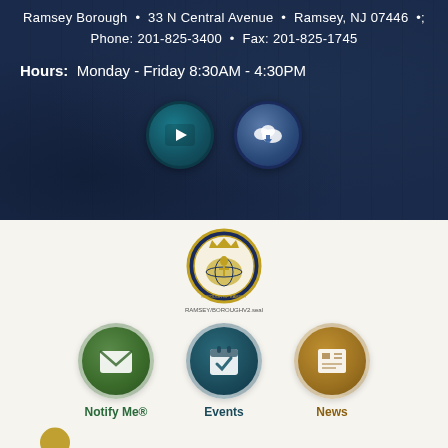Ramsey Borough • 33 N Central Avenue • Ramsey, NJ 07446 • Phone: 201-825-3400 • Fax: 201-825-1745
Hours: Monday - Friday 8:30AM - 4:30PM
[Figure (illustration): Two circular icon buttons: a YouTube play button (teal) and a cloud download button (blue)]
[Figure (logo): Borough of Ramsey, State of New Jersey official seal/logo]
[Figure (illustration): Three circular navigation icons: Notify Me (green with envelope), Events (teal with calendar checkmark), News (gold with newspaper/grid icon)]
Notify Me®
Events
News